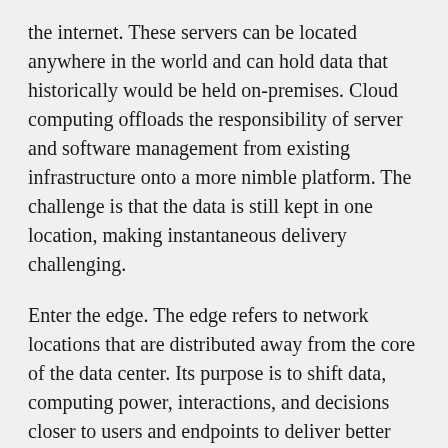the internet. These servers can be located anywhere in the world and can hold data that historically would be held on-premises. Cloud computing offloads the responsibility of server and software management from existing infrastructure onto a more nimble platform. The challenge is that the data is still kept in one location, making instantaneous delivery challenging.
Enter the edge. The edge refers to network locations that are distributed away from the core of the data center. Its purpose is to shift data, computing power, interactions, and decisions closer to users and endpoints to deliver better user experiences. As you move to a more resilient and secure edge, you can enjoy a frictionless experience that supports all your compliance requirements.